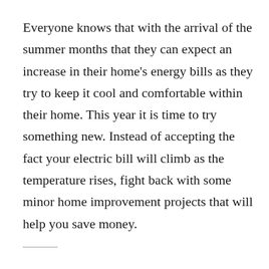Everyone knows that with the arrival of the summer months that they can expect an increase in their home's energy bills as they try to keep it cool and comfortable within their home. This year it is time to try something new. Instead of accepting the fact your electric bill will climb as the temperature rises, fight back with some minor home improvement projects that will help you save money.